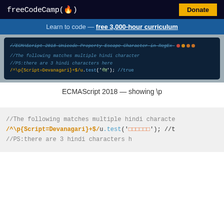freeCodeCamp(🔥)  [Donate]
Learn to code — free 3,000-hour curriculum
[Figure (screenshot): Dark-themed code editor screenshot showing ECMAScript 2018 Unicode Property Escape regex code in JavaScript with colored syntax highlighting]
ECMAScript 2018 — showing \p
[Figure (screenshot): Light gray code block showing JavaScript regex with \p{Script=Devanagari} and hindi characters]